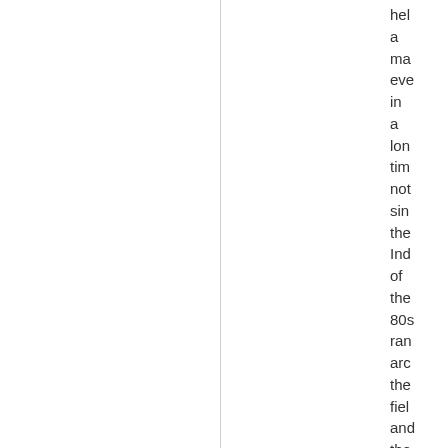hel a ma eve in a lon tim not sin the Ind of the 80s ran arc the fiel and the hot rod thu dow